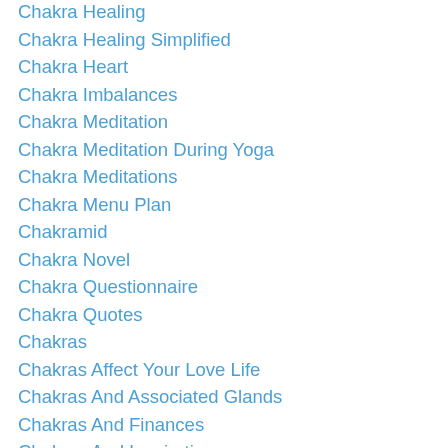Chakra Healing
Chakra Healing Simplified
Chakra Heart
Chakra Imbalances
Chakra Meditation
Chakra Meditation During Yoga
Chakra Meditations
Chakra Menu Plan
Chakramid
Chakra Novel
Chakra Questionnaire
Chakra Quotes
Chakras
Chakras Affect Your Love Life
Chakras And Associated Glands
Chakras And Finances
Chakras And Inspiration
Chakras And Love
Chakras And Sex
Chakras And Spirit Guides
Chakras And Spiritual Awakening